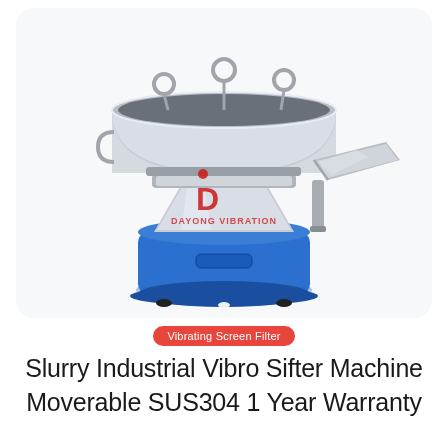[Figure (photo): A stainless steel vibrating screen sifter machine with a blue cylindrical motor base, polished metal upper sieve bowl with two lifting rings, a conical lower hopper section, and a side discharge spout. A red and white 'Dayong Vibration' logo/watermark appears in the center of the machine.]
Vibrating Screen Filter
Slurry Industrial Vibro Sifter Machine Moverable SUS304 1 Year Warranty